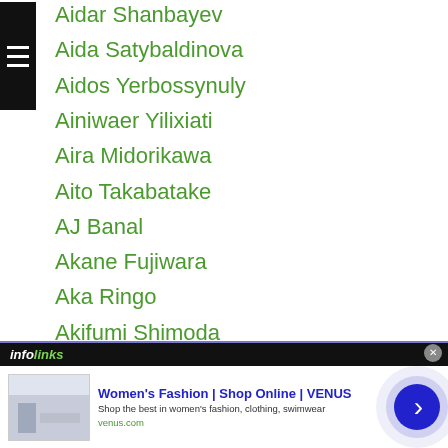Aidar Shanbayev
Aida Satybaldinova
Aidos Yerbossynuly
Ainiwaer Yilixiati
Aira Midorikawa
Aito Takabatake
AJ Banal
Akane Fujiwara
Aka Ringo
Akifumi Shimoda
Akifumi-shimoda
Akihiko Honda
Akihiro Kondo
Akihiro-matsumoto
Akihiro Toya
Akinobu Hiranaka
Hoshino (partial)
[Figure (screenshot): Advertisement banner for VENUS Women's Fashion online shop, with infolinks branding, showing website screenshot thumbnail, ad title 'Women's Fashion | Shop Online | VENUS', description 'Shop the best in women's fashion, clothing, swimwear', URL 'venus.com', and a circular blue arrow button.]